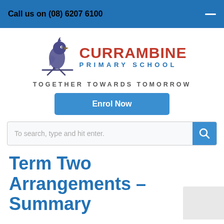Call us on (08) 6207 6100
[Figure (logo): Currambine Primary School logo with a blue parrot bird illustration on left, bold red text CURRAMBINE and blue text PRIMARY SCHOOL]
TOGETHER TOWARDS TOMORROW
Enrol Now
To search, type and hit enter.
Term Two Arrangements – Summary